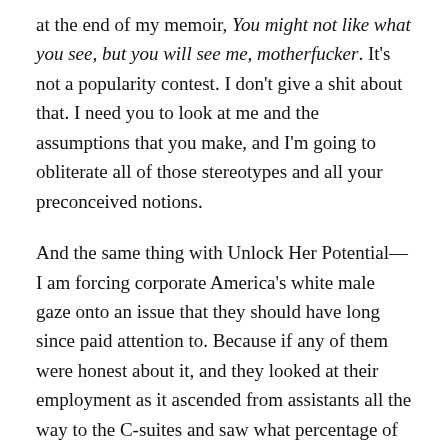at the end of my memoir, You might not like what you see, but you will see me, motherfucker. It's not a popularity contest. I don't give a shit about that. I need you to look at me and the assumptions that you make, and I'm going to obliterate all of those stereotypes and all your preconceived notions.
And the same thing with Unlock Her Potential—I am forcing corporate America's white male gaze onto an issue that they should have long since paid attention to. Because if any of them were honest about it, and they looked at their employment as it ascended from assistants all the way to the C-suites and saw what percentage of them were women of color, it would be shocking, it would be shameful, it would be abominable. And why? Because you are not giving women of color the tools they need to ascend. You are not giving women of color the tools they